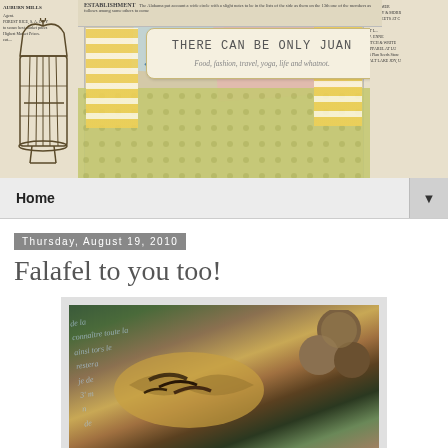[Figure (illustration): Blog header banner with decorative collage background featuring newspaper print, bird cage illustration, colorful fabric patches (yellow stripes, pink, blue), polka dot pattern, and a central title box reading 'THERE CAN BE ONLY JUAN' with subtitle 'Food, fashion, travel, yoga, life and whatnot.']
Home ▼
Thursday, August 19, 2010
Falafel to you too!
[Figure (photo): Photo of falafel food items on a decorative plate with script text background, showing golden-brown fried falafel patties and balls]